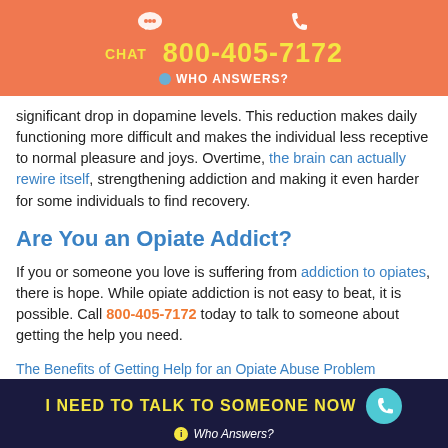CHAT  800-405-7172  WHO ANSWERS?
significant drop in dopamine levels. This reduction makes daily functioning more difficult and makes the individual less receptive to normal pleasure and joys. Overtime, the brain can actually rewire itself, strengthening addiction and making it even harder for some individuals to find recovery.
Are You an Opiate Addict?
If you or someone you love is suffering from addiction to opiates, there is hope. While opiate addiction is not easy to beat, it is possible. Call 800-405-7172 today to talk to someone about getting the help you need.
The Benefits of Getting Help for an Opiate Abuse Problem
I NEED TO TALK TO SOMEONE NOW  Who Answers?